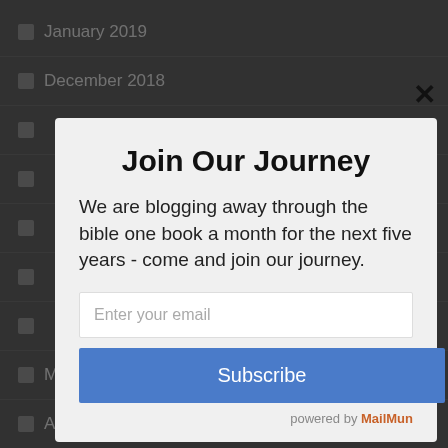January 2019
December 2018
May 2018
April 2018
Join Our Journey
We are blogging away through the bible one book a month for the next five years - come and join our journey.
Enter your email
Subscribe
powered by MailMun